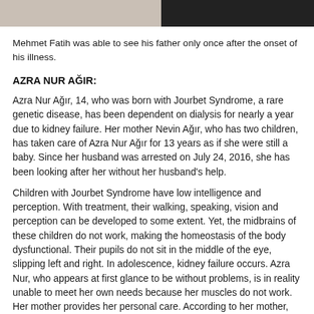[Figure (photo): Cropped photo showing partial figures, white/light tones on left side and dark suit on right side]
Mehmet Fatih was able to see his father only once after the onset of his illness.
AZRA NUR AĞIR:
Azra Nur Ağır, 14, who was born with Jourbet Syndrome, a rare genetic disease, has been dependent on dialysis for nearly a year due to kidney failure. Her mother Nevin Ağır, who has two children, has taken care of Azra Nur Ağır for 13 years as if she were still a baby. Since her husband was arrested on July 24, 2016, she has been looking after her without her husband's help.
Children with Jourbet Syndrome have low intelligence and perception. With treatment, their walking, speaking, vision and perception can be developed to some extent. Yet, the midbrains of these children do not work, making the homeostasis of the body dysfunctional. Their pupils do not sit in the middle of the eye, slipping left and right. In adolescence, kidney failure occurs. Azra Nur, who appears at first glance to be without problems, is in reality unable to meet her own needs because her muscles do not work. Her mother provides her personal care. According to her mother, Azra Nur's disease has progressed considerably since her father's arrest.